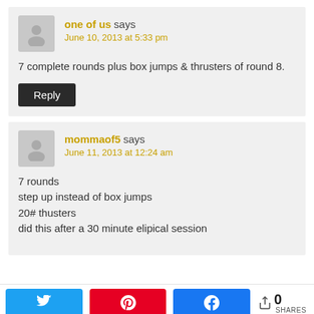one of us says
June 10, 2013 at 5:33 pm
7 complete rounds plus box jumps & thrusters of round 8.
Reply
mommaof5 says
June 11, 2013 at 12:24 am
7 rounds
step up instead of box jumps
20# thusters
did this after a 30 minute elipical session